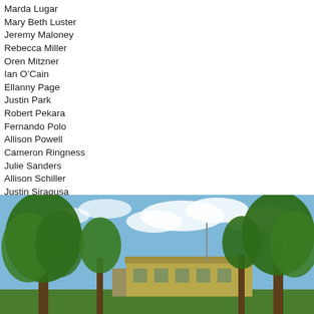Marda Lugar
Mary Beth Luster
Jeremy Maloney
Rebecca Miller
Oren Mitzner
Ian O'Cain
Ellanny Page
Justin Park
Robert Pekara
Fernando Polo
Allison Powell
Cameron Ringness
Julie Sanders
Allison Schiller
Justin Siragusa
Christopher Tellone
Ana Lucia Teran
William Trakas
Claire Tritschler
Erin Vaughn
Nichole Woggon
Brad Watson
Michael Welsh
Jen Wickham
[Figure (photo): Outdoor photo of a building surrounded by green trees under a blue sky with clouds]